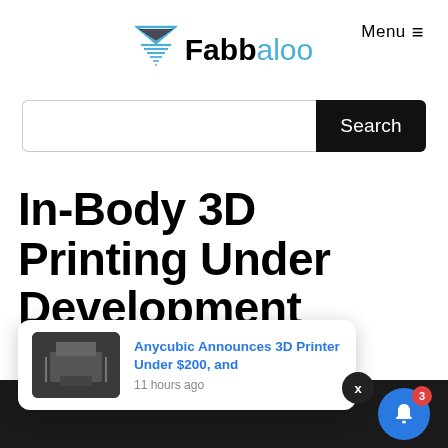Fabbaloo | Menu
[Figure (screenshot): Search bar with text input field and black Search button]
In-Body 3D Printing Under Development
By Kerry Stevenson on February 4th, 2021 in research
[Figure (screenshot): Notification popup: Anycubic Announces 3D Printer Under $200, and — 11 hours ago, with thumbnail of 3D printer]
[Figure (other): Blue bell notification button with red badge showing 3]